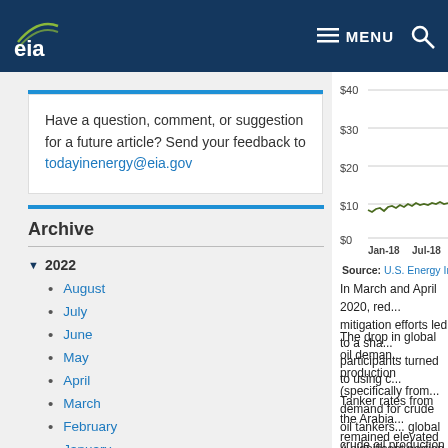EIA - U.S. Energy Information Administration header with logo and navigation menu
Have a question, comment, or suggestion for a future article? Send your feedback to todayinenergy@eia.gov
Archive
2022
August
July
June
May
April
March
February
January
[Figure (line-chart): Line chart showing tanker rates from Jan-18 to Jul-18, ranging approximately $7-$11, with y-axis showing $0, $10, $20, $30, $40]
Source: U.S. Energy Informatio...
In March and April 2020, red... mitigation efforts led to a sha... participants turned to using c...
The drop in global oil deman... production (specifically from... demand for crude oil tankers... global crude oil production a...
Tanker rates from the Arabia... remained elevated through m... sanctions on Chinese shippi... the highest since at least 200...
A significant portion of the o...